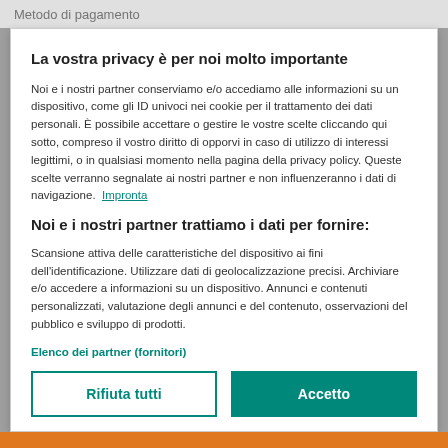Metodo di pagamento
La vostra privacy è per noi molto importante
Noi e i nostri partner conserviamo e/o accediamo alle informazioni su un dispositivo, come gli ID univoci nei cookie per il trattamento dei dati personali. È possibile accettare o gestire le vostre scelte cliccando qui sotto, compreso il vostro diritto di opporvi in caso di utilizzo di interessi legittimi, o in qualsiasi momento nella pagina della privacy policy. Queste scelte verranno segnalate ai nostri partner e non influenzeranno i dati di navigazione. Impronta
Noi e i nostri partner trattiamo i dati per fornire:
Scansione attiva delle caratteristiche del dispositivo ai fini dell'identificazione. Utilizzare dati di geolocalizzazione precisi. Archiviare e/o accedere a informazioni su un dispositivo. Annunci e contenuti personalizzati, valutazione degli annunci e del contenuto, osservazioni del pubblico e sviluppo di prodotti.
Elenco dei partner (fornitori)